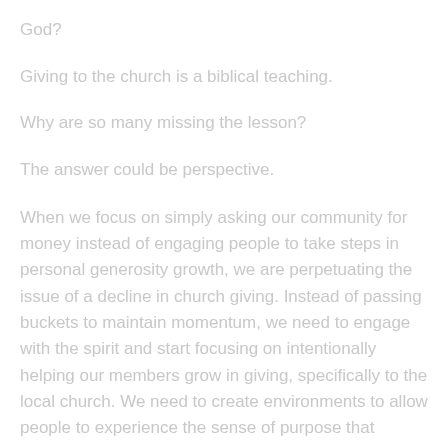God?
Giving to the church is a biblical teaching.
Why are so many missing the lesson?
The answer could be perspective.
When we focus on simply asking our community for money instead of engaging people to take steps in personal generosity growth, we are perpetuating the issue of a decline in church giving. Instead of passing buckets to maintain momentum, we need to engage with the spirit and start focusing on intentionally helping our members grow in giving, specifically to the local church. We need to create environments to allow people to experience the sense of purpose that occurs